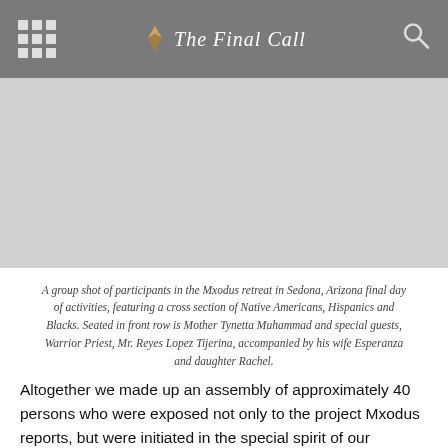The Final Call
[Figure (photo): Gray placeholder area representing a group photo of participants in the Mxodus retreat in Sedona, Arizona]
A group shot of participants in the Mxodus retreat in Sedona, Arizona final day of activities, featuring a cross section of Native Americans, Hispanics and Blacks. Seated in front row is Mother Tynetta Muhammad and special guests, Warrior Priest, Mr. Reyes Lopez Tijerina, accompanied by his wife Esperanza and daughter Rachel.
Altogether we made up an assembly of approximately 40 persons who were exposed not only to the project Mxodus reports, but were initiated in the special spirit of our surroundings. We were totally at peace as those giant sandstone carved mountains emerged as